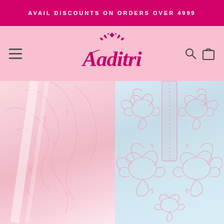AVAIL DISCOUNTS ON ORDERS OVER 4999
[Figure (logo): Aaditri fashion brand logo in magenta/pink cursive script with decorative floral element above the 'A']
[Figure (photo): Hero image showing two traditional Indian garments: left side a pink/rose embroidered fabric with delicate branch/leaf patterns, right side a light blue garment with intricate white/pink chikankari embroidery featuring peacock and floral motifs on the neckline and chest area]